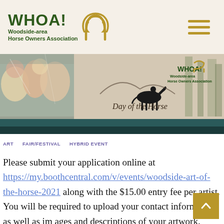[Figure (logo): WHOA! Woodside-area Horse Owners Association logo with horseshoe graphic and hamburger menu icon]
[Figure (illustration): Banner image showing colorful horse art on left, Day of the Horse text with silhouette of rider on horse in forest on right, with WHOA! Woodside-area Horse Owners Association text overlay]
ART   FAIR/FESTIVAL   HYBRID EVENT
Please submit your application online at https://my.boothcentral.com/v/events/woodside-art-of-the-horse-2021 along with the $15.00 entry fee per artist. You will be required to upload your contact information as well as images and descriptions of your artwork.